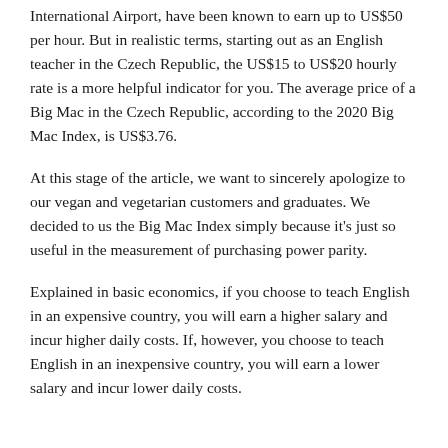International Airport, have been known to earn up to US$50 per hour. But in realistic terms, starting out as an English teacher in the Czech Republic, the US$15 to US$20 hourly rate is a more helpful indicator for you. The average price of a Big Mac in the Czech Republic, according to the 2020 Big Mac Index, is US$3.76.
At this stage of the article, we want to sincerely apologize to our vegan and vegetarian customers and graduates. We decided to us the Big Mac Index simply because it's just so useful in the measurement of purchasing power parity.
Explained in basic economics, if you choose to teach English in an expensive country, you will earn a higher salary and incur higher daily costs. If, however, you choose to teach English in an inexpensive country, you will earn a lower salary and incur lower daily costs.